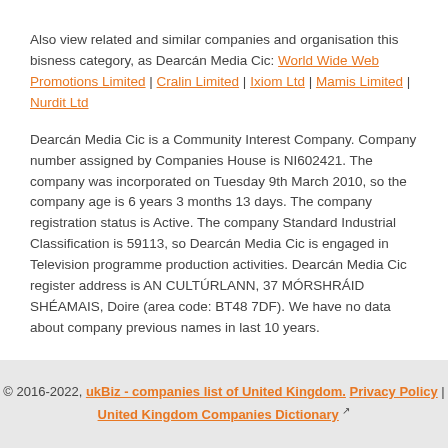Also view related and similar companies and organisation this bisness category, as Dearcán Media Cic: World Wide Web Promotions Limited | Cralin Limited | Ixiom Ltd | Mamis Limited | Nurdit Ltd
Dearcán Media Cic is a Community Interest Company. Company number assigned by Companies House is NI602421. The company was incorporated on Tuesday 9th March 2010, so the company age is 6 years 3 months 13 days. The company registration status is Active. The company Standard Industrial Classification is 59113, so Dearcán Media Cic is engaged in Television programme production activities. Dearcán Media Cic register address is AN CULTÚRLANN, 37 MÓRSHRÁID SHÉAMAIS, Doire (area code: BT48 7DF). We have no data about company previous names in last 10 years.
© 2016-2022, ukBiz - companies list of United Kingdom. Privacy Policy | United Kingdom Companies Dictionary